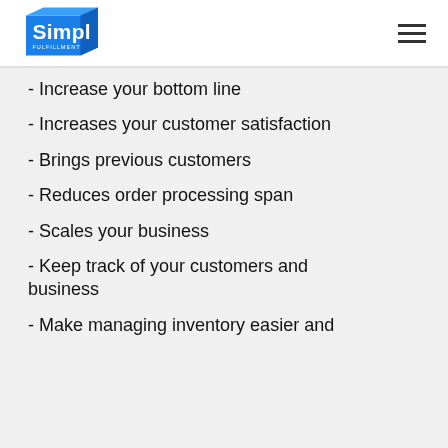Simpl Fulfillment
- Increase your bottom line
- Increases your customer satisfaction
- Brings previous customers
- Reduces order processing span
- Scales your business
- Keep track of your customers and business
- Make managing inventory easier and